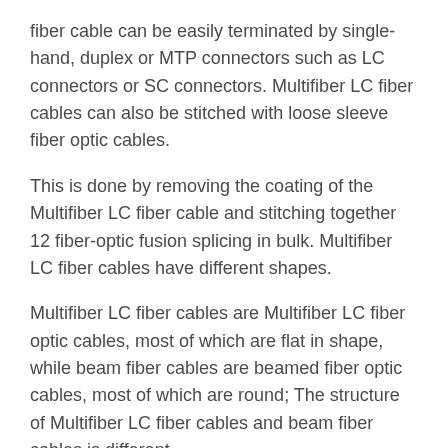fiber cable can be easily terminated by single-hand, duplex or MTP connectors such as LC connectors or SC connectors. Multifiber LC fiber cables can also be stitched with loose sleeve fiber optic cables.
This is done by removing the coating of the Multifiber LC fiber cable and stitching together 12 fiber-optic fusion splicing in bulk. Multifiber LC fiber cables have different shapes.
Multifiber LC fiber cables are Multifiber LC fiber optic cables, most of which are flat in shape, while beam fiber cables are beamed fiber optic cables, most of which are round; The structure of Multifiber LC fiber cables and beam fiber cables is different.
The multifiber fiber cable is composed of fiber optic ba while the beam fiber cable is usually composed of 0.9mm